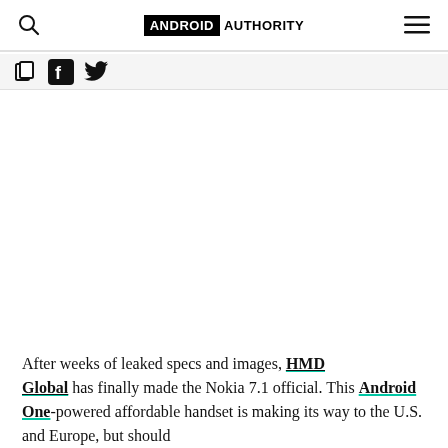ANDROID AUTHORITY
[Figure (screenshot): Social sharing icons bar with copy, Facebook, and Twitter icons]
After weeks of leaked specs and images, HMD Global has finally made the Nokia 7.1 official. This Android One-powered affordable handset is making its way to the U.S. and Europe, but should